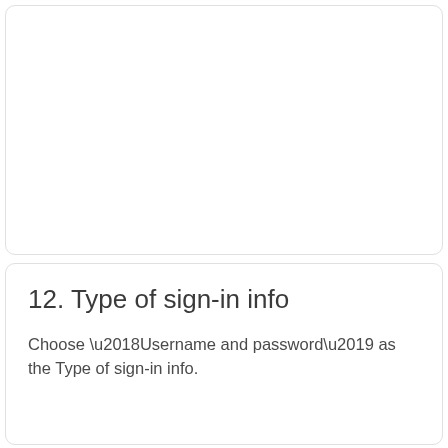[Figure (other): Empty white rounded card box at top of page]
12. Type of sign-in info
Choose ‘Username and password’ as the Type of sign-in info.